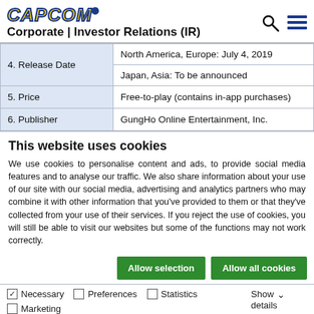CAPCOM® Corporate | Investor Relations (IR)
| 4. Release Date | North America, Europe: July 4, 2019 / Japan, Asia: To be announced |
| 5. Price | Free-to-play (contains in-app purchases) |
| 6. Publisher | GungHo Online Entertainment, Inc. |
This website uses cookies
We use cookies to personalise content and ads, to provide social media features and to analyse our traffic. We also share information about your use of our site with our social media, advertising and analytics partners who may combine it with other information that you've provided to them or that they've collected from your use of their services. If you reject the use of cookies, you will still be able to visit our websites but some of the functions may not work correctly.
Allow selection | Allow all cookies
Necessary   Preferences   Statistics   Marketing   Show details